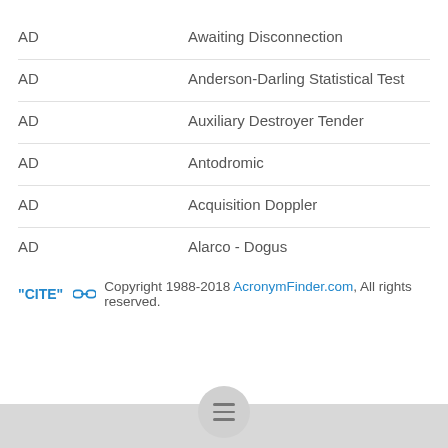AD   Awaiting Disconnection
AD   Anderson-Darling Statistical Test
AD   Auxiliary Destroyer Tender
AD   Antodromic
AD   Acquisition Doppler
AD   Alarco - Dogus
"CITE" [link] Copyright 1988-2018 AcronymFinder.com, All rights reserved.